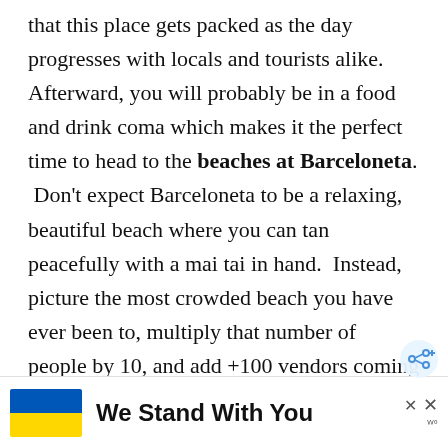that this place gets packed as the day progresses with locals and tourists alike. Afterward, you will probably be in a food and drink coma which makes it the perfect time to head to the beaches at Barceloneta.  Don't expect Barceloneta to be a relaxing, beautiful beach where you can tan peacefully with a mai tai in hand.  Instead, picture the most crowded beach you have ever been to, multiply that number of people by 10, and add +100 vendors coming up to you every minute trying to sell massages, beverages, and knick knacks galore.  There
[Figure (infographic): Advertisement banner at bottom of page showing Ukrainian flag (blue and yellow) with text 'We Stand With You' and close/share icons]